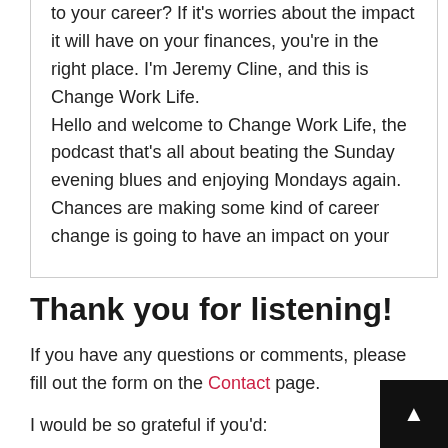to your career? If it's worries about the impact it will have on your finances, you're in the right place. I'm Jeremy Cline, and this is Change Work Life.
Hello and welcome to Change Work Life, the podcast that's all about beating the Sunday evening blues and enjoying Mondays again. Chances are making some kind of career change is going to have an impact on your
Thank you for listening!
If you have any questions or comments, please fill out the form on the Contact page.
I would be so grateful if you'd:
Leave a review on Apple Podcasts to help